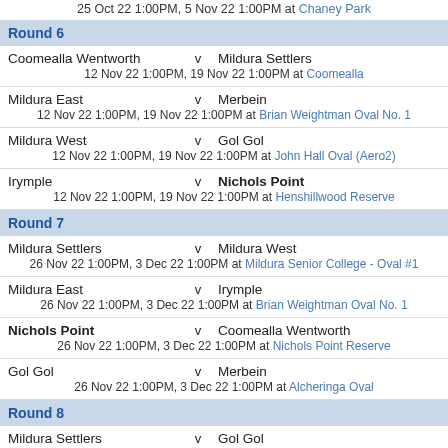25 Oct 22 1:00PM, 5 Nov 22 1:00PM at Chaney Park
Round 6
Coomealla Wentworth v Mildura Settlers
12 Nov 22 1:00PM, 19 Nov 22 1:00PM at Coomealla
Mildura East v Merbein
12 Nov 22 1:00PM, 19 Nov 22 1:00PM at Brian Weightman Oval No. 1
Mildura West v Gol Gol
12 Nov 22 1:00PM, 19 Nov 22 1:00PM at John Hall Oval (Aero2)
Irymple v Nichols Point
12 Nov 22 1:00PM, 19 Nov 22 1:00PM at Henshillwood Reserve
Round 7
Mildura Settlers v Mildura West
26 Nov 22 1:00PM, 3 Dec 22 1:00PM at Mildura Senior College - Oval #1
Mildura East v Irymple
26 Nov 22 1:00PM, 3 Dec 22 1:00PM at Brian Weightman Oval No. 1
Nichols Point v Coomealla Wentworth
26 Nov 22 1:00PM, 3 Dec 22 1:00PM at Nichols Point Reserve
Gol Gol v Merbein
26 Nov 22 1:00PM, 3 Dec 22 1:00PM at Alcheringa Oval
Round 8
Mildura Settlers v Gol Gol
17 Dec 22 1:00PM at Mildura Senior College - Oval #1
Mildura East v Coomealla Wentworth